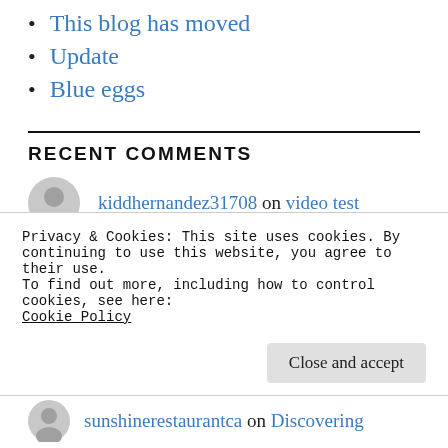This blog has moved
Update
Blue eggs
RECENT COMMENTS
kiddhernandez31708 on video test
Ladybug Brasil Três on Three ago
Privacy & Cookies: This site uses cookies. By continuing to use this website, you agree to their use. To find out more, including how to control cookies, see here: Cookie Policy
Close and accept
sunshinerestaurantca on Discovering